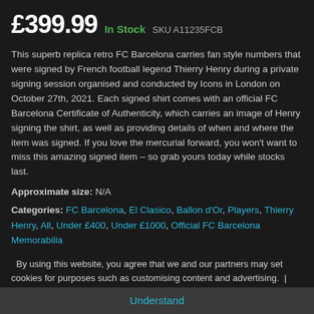£399.99  In Stock  SKU A11235FCB
This superb replica retro FC Barcelona carries fan style numbers that were signed by French football legend Thierry Henry during a private signing session organised and conducted by Icons in London on October 27th, 2021. Each signed shirt comes with an official FC Barcelona Certificate of Authenticity, which carries an image of Henry signing the shirt, as well as providing details of when and where the item was signed. If you love the mercurial forward, you won't want to miss this amazing signed item – so grab yours today while stocks last.
Approximate size: N/A
Categories: FC Barcelona, El Clasico, Ballon d'Or, Players, Thierry Henry, All, Under £400, Under £1000, Official FC Barcelona Memorabilia
Dispatch time: Usually dispatched within 2-3 working days
By using this website, you agree that we and our partners may set cookies for purposes such as customising content and advertising.
Understand